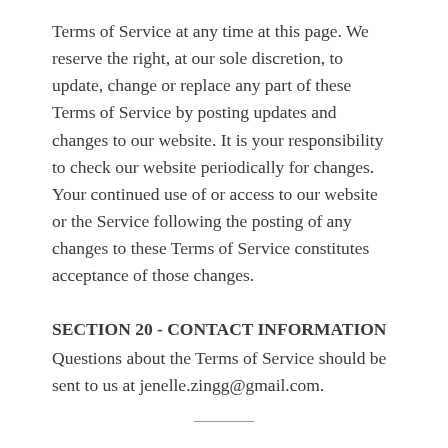Terms of Service at any time at this page. We reserve the right, at our sole discretion, to update, change or replace any part of these Terms of Service by posting updates and changes to our website. It is your responsibility to check our website periodically for changes. Your continued use of or access to our website or the Service following the posting of any changes to these Terms of Service constitutes acceptance of those changes.
SECTION 20 - CONTACT INFORMATION
Questions about the Terms of Service should be sent to us at jenelle.zingg@gmail.com.